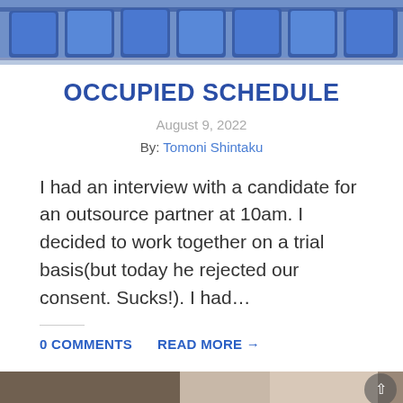[Figure (photo): Top shelf photo showing blue packaged products (food/snack items) on store shelves]
OCCUPIED SCHEDULE
August 9, 2022
By: Tomoni Shintaku
I had an interview with a candidate for an outsource partner at 10am. I decided to work together on a trial basis(but today he rejected our consent. Sucks!). I had…
0 COMMENTS   READ MORE →
[Figure (photo): Bottom partial photo showing an indoor scene, partially visible]